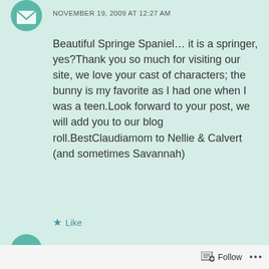[Figure (illustration): Avatar icon of a person/mailbox teal colored]
NOVEMBER 19, 2009 AT 12:27 AM
Beautiful Springe Spaniel… it is a springer, yes?Thank you so much for visiting our site, we love your cast of characters; the bunny is my favorite as I had one when I was a teen.Look forward to your post, we will add you to our blog roll.BestClaudiamom to Nellie & Calvert (and sometimes Savannah)
★ Like
[Figure (illustration): Second avatar icon partially visible at bottom]